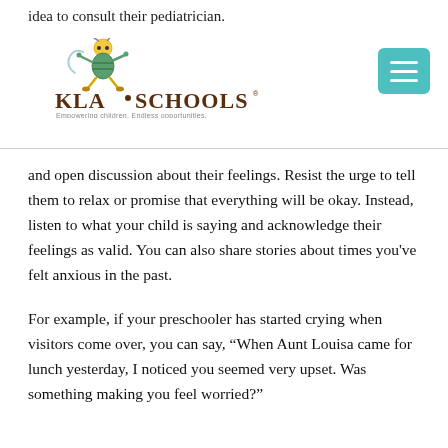idea to consult their pediatrician.
[Figure (logo): KLA Schools logo with cartoon bug character. Text reads 'KLA SCHOOLS' with tagline 'Empowering children. Endless opportunities.' A teal hamburger menu button is in the top right.]
and open discussion about their feelings. Resist the urge to tell them to relax or promise that everything will be okay. Instead, listen to what your child is saying and acknowledge their feelings as valid. You can also share stories about times you've felt anxious in the past.
For example, if your preschooler has started crying when visitors come over, you can say, “When Aunt Louisa came for lunch yesterday, I noticed you seemed very upset. Was something making you feel worried?”